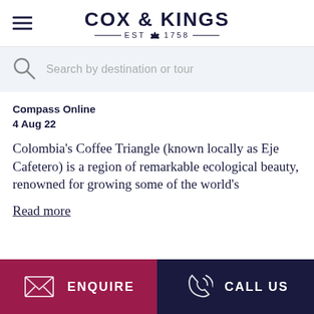COX & KINGS EST 1758
Search by destination or tour
Compass Online
4 Aug 22
Colombia's Coffee Triangle (known locally as Eje Cafetero) is a region of remarkable ecological beauty, renowned for growing some of the world's
Read more
[Figure (photo): Sky/clouds photo strip]
ENQUIRE | CALL US